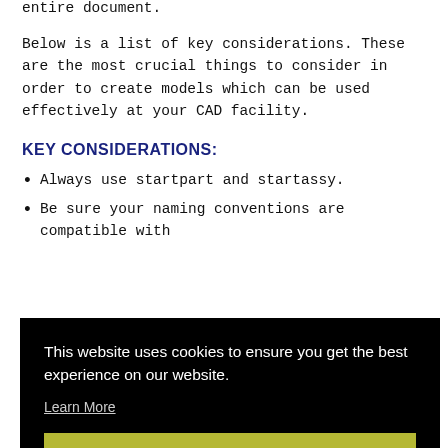entire document.
Below is a list of key considerations. These are the most crucial things to consider in order to create models which can be used effectively at your CAD facility.
KEY CONSIDERATIONS:
Always use startpart and startassy.
Be sure your naming conventions are compatible with the system you are using.
...xist
...ate ...tc.)
It...a...illustrativedesigns@gmail.com
[Figure (screenshot): Cookie consent overlay with black background. Text reads: 'This website uses cookies to ensure you get the best experience on our website.' with a 'Learn More' link and a yellow-green 'Got it!' button.]